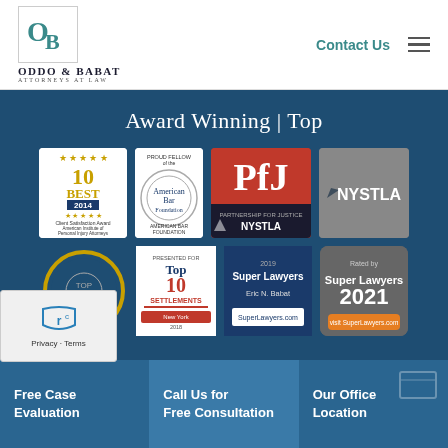[Figure (logo): Oddo & Babat Attorneys at Law logo with OB monogram in teal]
Contact Us
Award Winning | Top
[Figure (illustration): Row of award badges: 10 Best Client Satisfaction Award 2014 American Institute of Personal Injury Attorneys, Proud Fellow American Bar Foundation, Partnership for Justice PfJ NYSTLA, NYSTLA logo]
[Figure (illustration): Row of award badges: TOP medallion, Top 10 Settlements New York, Super Lawyers Eric N. Babat SuperLawyers.com, Rated by Super Lawyers 2021]
Privacy · Terms
Free Case Evaluation
Call Us for Free Consultation
Our Office Location